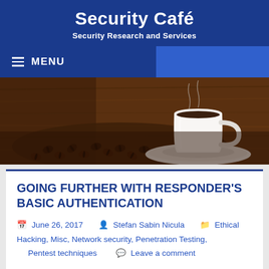Security Café
Security Research and Services
☰  MENU
[Figure (photo): A white coffee cup on a saucer surrounded by coffee beans on a wooden surface, used as a hero/banner image for Security Café website.]
GOING FURTHER WITH RESPONDER'S BASIC AUTHENTICATION
June 26, 2017   Stefan Sabin Nicula   Ethical Hacking, Misc, Network security, Penetration Testing, Pentest techniques   Leave a comment